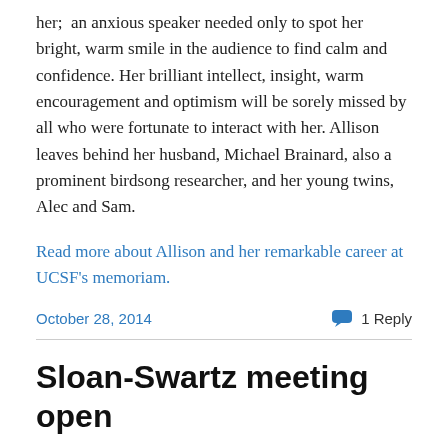her;  an anxious speaker needed only to spot her bright, warm smile in the audience to find calm and confidence. Her brilliant intellect, insight, warm encouragement and optimism will be sorely missed by all who were fortunate to interact with her. Allison leaves behind her husband, Michael Brainard, also a prominent birdsong researcher, and her young twins, Alec and Sam.
Read more about Allison and her remarkable career at UCSF's memoriam.
October 28, 2014
1 Reply
Sloan-Swartz meeting open
The schedule for the 2014 Sloan-Swartz meeting, to be